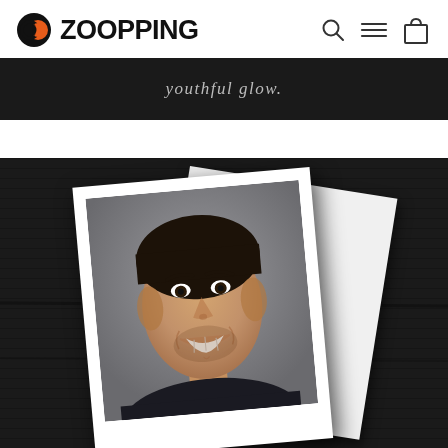ZOOPPING
youthful glow.
[Figure (photo): Polaroid-style photo of a smiling young man with short dark hair and stubble, wearing a dark shirt, displayed on a dark textured background. A second polaroid card is visible behind the first, slightly rotated.]